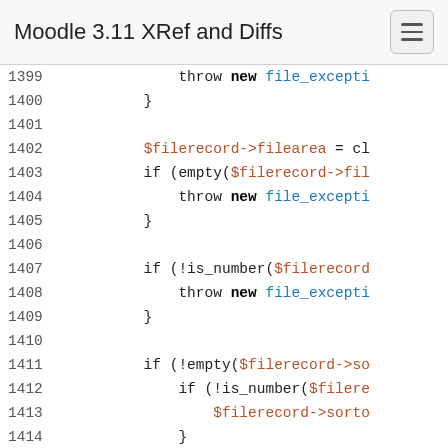Moodle 3.11 XRef and Diffs
[Figure (screenshot): Code viewer showing PHP source lines 1399-1417 with syntax highlighting: line numbers in grey, keywords in black/bold, variables in red/brown, function names in blue]
1399    throw new file_excepti
1400    }
1401
1402    $filerecord->filearea = cl
1403    if (empty($filerecord->fil
1404        throw new file_excepti
1405    }
1406
1407    if (!is_number($filerecord
1408        throw new file_excepti
1409    }
1410
1411    if (!empty($filerecord->so
1412        if (!is_number($filere
1413            $filerecord->sorto
1414        }
1415    } else {
1416        $filerecord->sortorder
1417    }